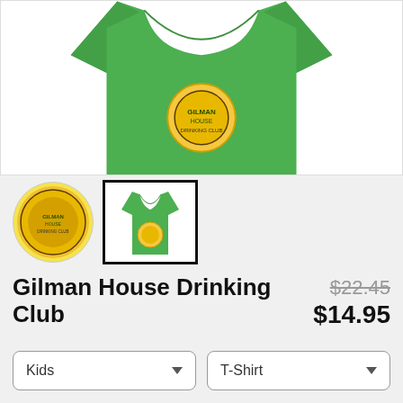[Figure (photo): Product photo: green kids T-shirt with colorful graphic on front, cropped view showing the shirt against white background]
[Figure (photo): Thumbnail 1: circular badge with yellow background and colorful cartoon/illustration graphic]
[Figure (photo): Thumbnail 2: small green T-shirt with graphic, selected thumbnail with black border]
Gilman House Drinking Club
$22.45 $14.95
Kids
T-Shirt
COLOR